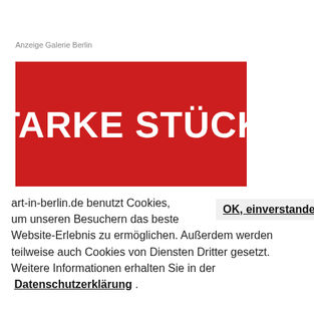Anzeige Galerie Berlin
[Figure (illustration): Red rectangle banner with bold white text reading 'STARKE STÜCKE']
art-in-berlin.de benutzt Cookies, um unseren Besuchern das beste Website-Erlebnis zu ermöglichen. Außerdem werden teilweise auch Cookies von Diensten Dritter gesetzt. Weitere Informationen erhalten Sie in der Datenschutzerklärung .
OK, einverstanden